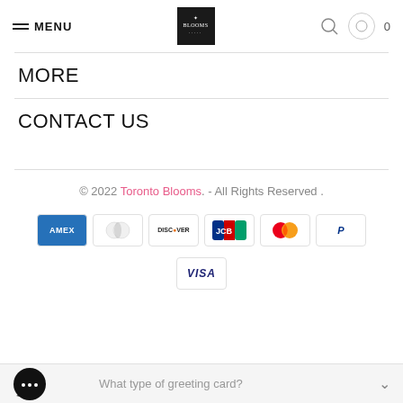MENU | BLOOMS (logo) | search | cart 0
MORE
CONTACT US
© 2022 Toronto Blooms. - All Rights Reserved.
[Figure (other): Payment method icons: American Express, Diners Club, Discover, JCB, Mastercard, PayPal, Visa]
What type of greeting card?